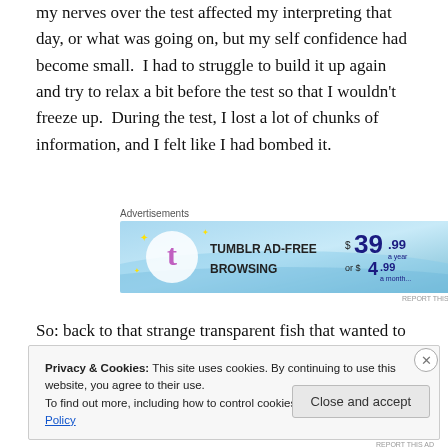my nerves over the test affected my interpreting that day, or what was going on, but my self confidence had become small.  I had to struggle to build it up again and try to relax a bit before the test so that I wouldn't freeze up.  During the test, I lost a lot of chunks of information, and I felt like I had bombed it.
[Figure (other): Tumblr Ad-Free Browsing advertisement banner. Blue gradient background with Tumblr logo, text 'TUMBLR AD-FREE BROWSING', price '$39.99 a year or $4.99 a month'.]
So: back to that strange transparent fish that wanted to
Privacy & Cookies: This site uses cookies. By continuing to use this website, you agree to their use.
To find out more, including how to control cookies, see here: Cookie Policy